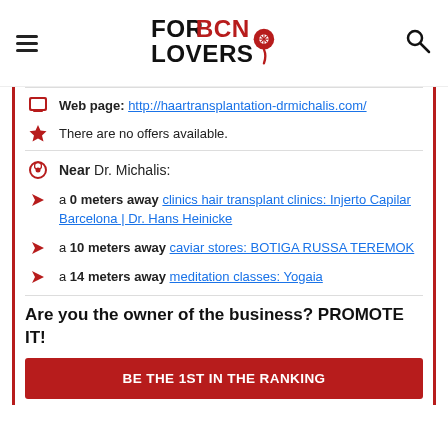FORBCN LOVERS (logo)
Web page: http://haartransplantation-drmichalis.com/
There are no offers available.
Near Dr. Michalis:
a 0 meters away clinics hair transplant clinics: Injerto Capilar Barcelona | Dr. Hans Heinicke
a 10 meters away caviar stores: BOTIGA RUSSA TEREMOK
a 14 meters away meditation classes: Yogaia
Are you the owner of the business? PROMOTE IT!
BE THE 1ST IN THE RANKING